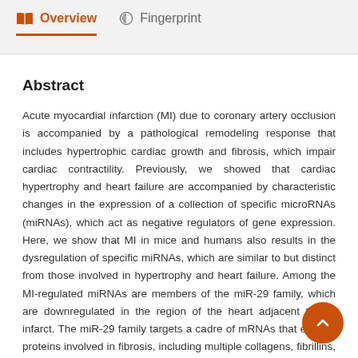Overview   Fingerprint
Abstract
Acute myocardial infarction (MI) due to coronary artery occlusion is accompanied by a pathological remodeling response that includes hypertrophic cardiac growth and fibrosis, which impair cardiac contractility. Previously, we showed that cardiac hypertrophy and heart failure are accompanied by characteristic changes in the expression of a collection of specific microRNAs (miRNAs), which act as negative regulators of gene expression. Here, we show that MI in mice and humans also results in the dysregulation of specific miRNAs, which are similar to but distinct from those involved in hypertrophy and heart failure. Among the MI-regulated miRNAs are members of the miR-29 family, which are downregulated in the region of the heart adjacent to the infarct. The miR-29 family targets a cadre of mRNAs that encode proteins involved in fibrosis, including multiple collagens, fibrillins, and elastin. Thus, down-regulation